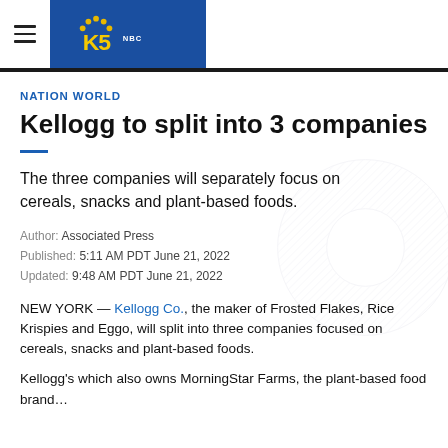King 5 NBC — Navigation header with logo
NATION WORLD
Kellogg to split into 3 companies
The three companies will separately focus on cereals, snacks and plant-based foods.
Author: Associated Press
Published: 5:11 AM PDT June 21, 2022
Updated: 9:48 AM PDT June 21, 2022
NEW YORK — Kellogg Co., the maker of Frosted Flakes, Rice Krispies and Eggo, will split into three companies focused on cereals, snacks and plant-based foods.
Kellogg's which also owns MorningStar Farms, the plant-based food brand…